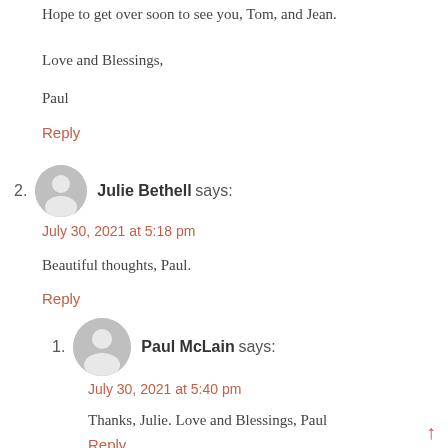Hope to get over soon to see you, Tom, and Jean.
Love and Blessings,
Paul
Reply
Julie Bethell says:
July 30, 2021 at 5:18 pm
Beautiful thoughts, Paul.
Reply
Paul McLain says:
July 30, 2021 at 5:40 pm
Thanks, Julie. Love and Blessings, Paul
Reply